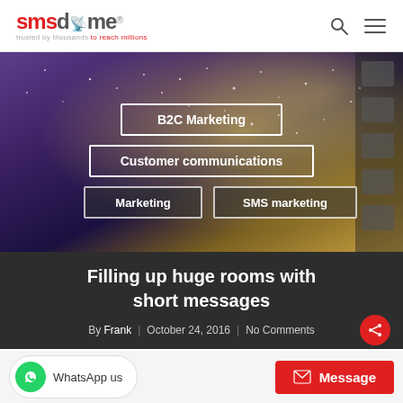smsdome® — trusted by thousands to reach millions
[Figure (photo): Hero banner with sparkling/fireworks background in purple and gold tones with category tag buttons overlaid: B2C Marketing, Customer communications, Marketing, SMS marketing]
Filling up huge rooms with short messages
By Frank | October 24, 2016 | No Comments